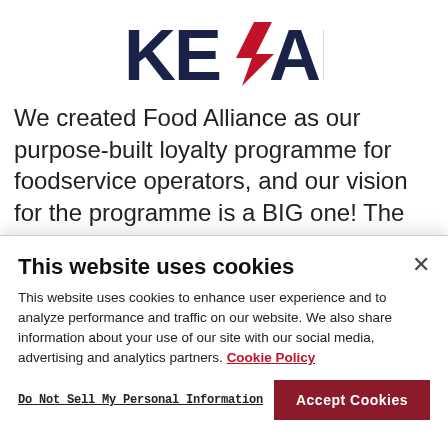[Figure (logo): Kepak logo — bold navy 'KE' and 'AK' with a red arrow/lightning bolt forming the 'P' between them]
We created Food Alliance as our purpose-built loyalty programme for foodservice operators, and our vision for the programme is a BIG one! The programme was launched in close partnership with our key distributors in Ireland as a way of thanking our loyal
This website uses cookies
This website uses cookies to enhance user experience and to analyze performance and traffic on our website. We also share information about your use of our site with our social media, advertising and analytics partners. Cookie Policy
Do Not Sell My Personal Information
Accept Cookies